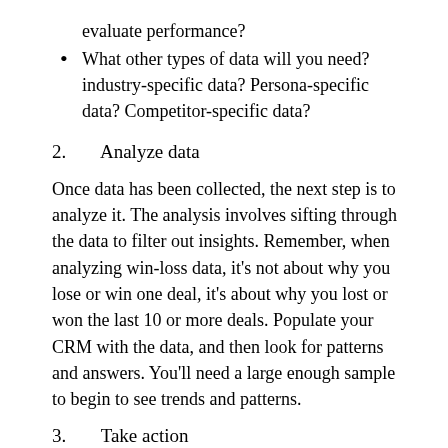evaluate performance?
What other types of data will you need? industry-specific data? Persona-specific data? Competitor-specific data?
2.    Analyze data
Once data has been collected, the next step is to analyze it. The analysis involves sifting through the data to filter out insights. Remember, when analyzing win-loss data, it's not about why you lose or win one deal, it's about why you lost or won the last 10 or more deals. Populate your CRM with the data, and then look for patterns and answers. You'll need a large enough sample to begin to see trends and patterns.
3.    Take action
After a thorough analysis, you should have enough